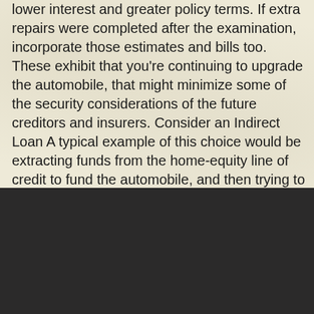lower interest and greater policy terms. If extra repairs were completed after the examination, incorporate those estimates and bills too. These exhibit that you're continuing to upgrade the automobile, that might minimize some of the security considerations of the future creditors and insurers. Consider an Indirect Loan A typical example of this choice would be extracting funds from the home-equity line of credit to fund the automobile, and then trying to repay the cash borrowed from your personal credit line with time.
EMAIL ADDRESS
SIGN ME UP
FOGHORN STRINGBAND © 2022